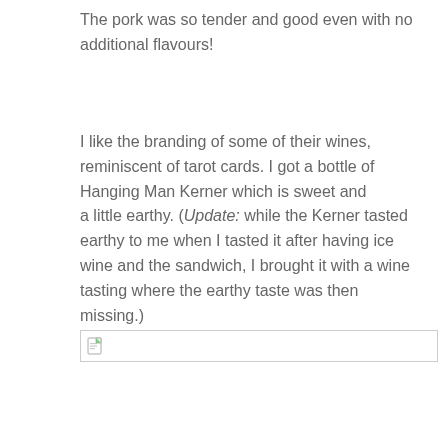The pork was so tender and good even with no additional flavours!
I like the branding of some of their wines, reminiscent of tarot cards. I got a bottle of Hanging Man Kerner which is sweet and a little earthy. (Update: while the Kerner tasted earthy to me when I tasted it after having ice wine and the sandwich, I brought it with a wine tasting where the earthy taste was then missing.)
[Figure (other): Broken image placeholder with small document icon and horizontal line]